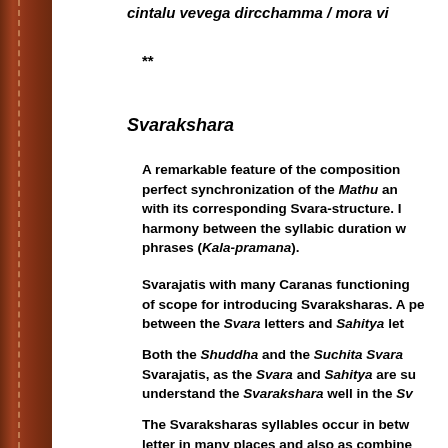cintalu vevega dircchamma / mora vi
**
Svarakshara
A remarkable feature of the composition is the perfect synchronization of the Mathu and with its corresponding Svara-structure. It harmony between the syllabic duration w phrases (Kala-pramana).
Svarajatis with many Caranas functioning of scope for introducing Svaraksharas. A pe between the Svara letters and Sahitya let
Both the Shuddha and the Suchita Svara Svarajatis, as the Svara and Sahitya are su understand the Svarakshara well in the Sv
The Svaraksharas syllables occur in betw letter in many places and also as combine